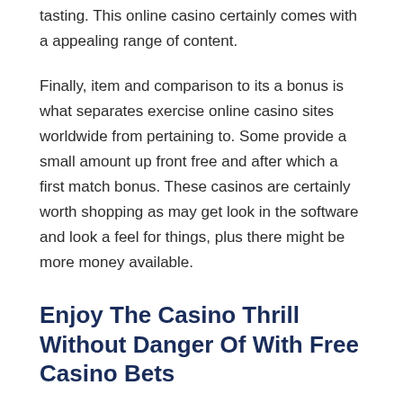tasting. This online casino certainly comes with a appealing range of content.
Finally, item and comparison to its a bonus is what separates exercise online casino sites worldwide from pertaining to. Some provide a small amount up front free and after which a first match bonus. These casinos are certainly worth shopping as may get look in the software and look a feel for things, plus there might be more money available.
Enjoy The Casino Thrill Without Danger Of With Free Casino Bets
Miscellaneous   May 18, 2022